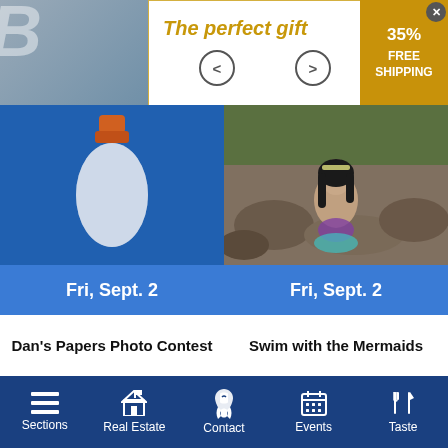[Figure (screenshot): Top banner ad showing 'The perfect gift' text with navigation arrows and a gold/yellow promo badge saying '35% FREE SHIPPING' with an X close button]
[Figure (photo): Left event card showing a blue background with an orange-topped bottle graphic, and a blue date bar reading 'Fri, Sept. 2']
[Figure (photo): Right event card showing a girl dressed as a mermaid sitting on rocks outdoors, with a blue date bar reading 'Fri, Sept. 2']
Dan's Papers Photo Contest
Swim with the Mermaids
VIEW ALL EVENTS...
Sections | Real Estate | Contact | Events | Taste